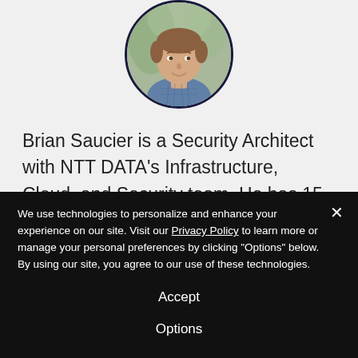[Figure (photo): Circular profile photo of Brian Saucier, a smiling man wearing a blue checkered shirt, with a dark navy circular border. Background is light gray/green blurred outdoor setting.]
Brian Saucier is a Security Architect with NTT DATA's Infrastructure, Cloud, and Security team. He has 15 years of experience consulting on, designing, implementing, and operating enterprise security solutions and enjoys helping
We use technologies to personalize and enhance your experience on our site. Visit our Privacy Policy to learn more or manage your personal preferences by clicking "Options" below. By using our site, you agree to our use of these technologies.
Accept
Options